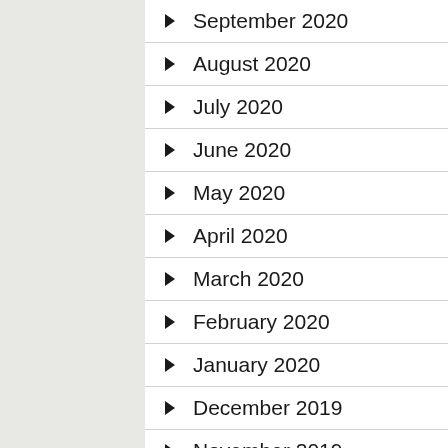September 2020
August 2020
July 2020
June 2020
May 2020
April 2020
March 2020
February 2020
January 2020
December 2019
November 2019
October 2019
September 2019
August 2019
July 2019
June 2019